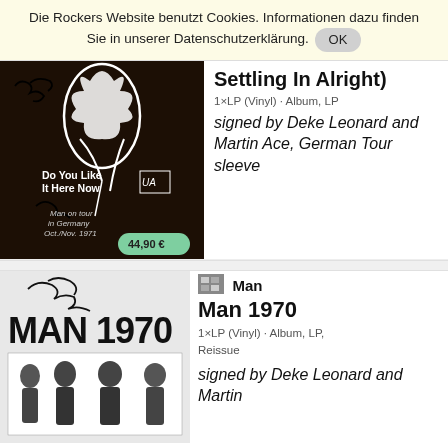Die Rockers Website benutzt Cookies. Informationen dazu finden Sie in unserer Datenschutzerklärung. OK
[Figure (photo): Album cover for 'Do You Like It Here Now, Are You Settling In Alright' by Man - dark brown background with stylized white floral/figure design, autographs, United Artists logo, text 'Do You Like It Here Now', 'Man on tour in Germany Oct./Nov. 1971', price badge 44,90 €]
Settling In Alright)
1×LP (Vinyl) · Album, LP
signed by Deke Leonard and Martin Ace, German Tour sleeve
[Figure (photo): Album cover for Man 1970 - black and white photo of four band members with 'MAN 1970' text in large bold letters, with autograph at top]
Man
Man 1970
1×LP (Vinyl) · Album, LP, Reissue
signed by Deke Leonard and Martin